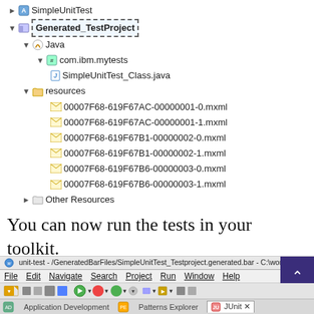[Figure (screenshot): Eclipse IDE Project Explorer tree showing Generated_TestProject with Java source file SimpleUnitTest_Class.java under com.ibm.mytests package, and resources folder containing 6 .mxml files and Other Resources. SimpleUnitTest is also shown at top.]
You can now run the tests in your toolkit.
[Figure (screenshot): Eclipse IDE screenshot showing toolbar, menu bar with File Edit Navigate Search Project Run Window Help, and JUnit tab with result: Finished after 0.296 seconds, Runs: 3/3, Errors: 0, Failures: 0, and a green progress bar.]